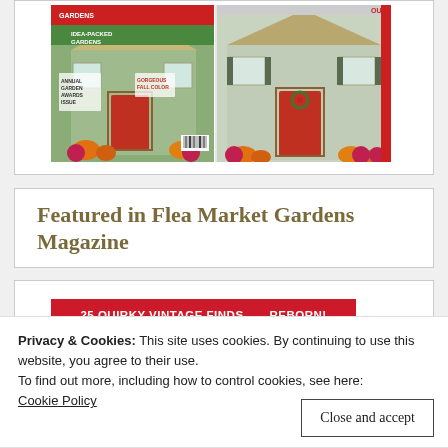[Figure (photo): Two magazine covers of a gardening magazine side by side showing cottage-style home exteriors decorated with fall pumpkins and flowers. Left cover has text 'IDEA-PACKED GARDENS', 'Annual Garden Awards Issue', 'Gorgeous Fall Color'. Right cover shows similar cottage exterior with red door and fall decorations.]
Featured in Flea Market Gardens Magazine
[Figure (photo): Partial view of another magazine with a red banner reading '25 QUIRKY VINTAGE FINDS . . . REBORN!']
Privacy & Cookies: This site uses cookies. By continuing to use this website, you agree to their use.
To find out more, including how to control cookies, see here:
Cookie Policy
Close and accept
[Figure (photo): Partial bottom strip showing colorful garden-related magazine imagery with greens, reds, and oranges.]